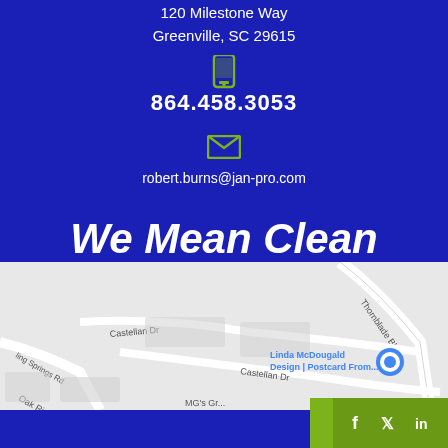120 Milestone Way
Greenville, SC 29615
864.458.3053
robert.burns@jan-pro.com
We Mean Clean
[Figure (map): Street map showing area near Thornblade Blvd, Castellan Dr, Boling Springs Rd, Oak Ridge area in Greenville SC with Linda McDougald Design | Postcard From... location marker]
REQUEST SERVICE
[Figure (other): Social media icons: Facebook, Twitter, LinkedIn on green background]